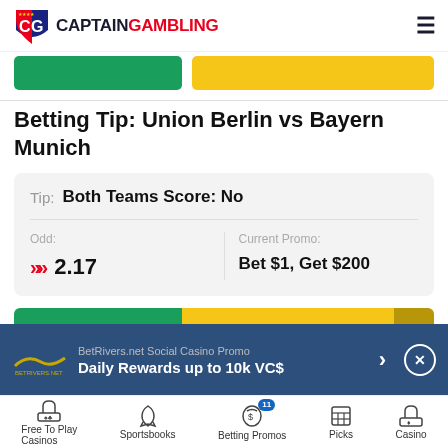[Figure (logo): CaptainGambling logo with shield icon and text]
Betting Tip: Union Berlin vs Bayern Munich
| Tip | Both Teams Score: No |
| --- | --- |
| Odd: | Current Promo: |
| ▶▶ 2.17 | Bet $1, Get $200 |
[Figure (screenshot): bet365 green button and Bet Now yellow button]
[Figure (screenshot): BetRivers.net ad banner - Daily Rewards up to 10k VC$]
Free To Play Casinos  Sportsbooks  Betting Promos  Picks  Casino